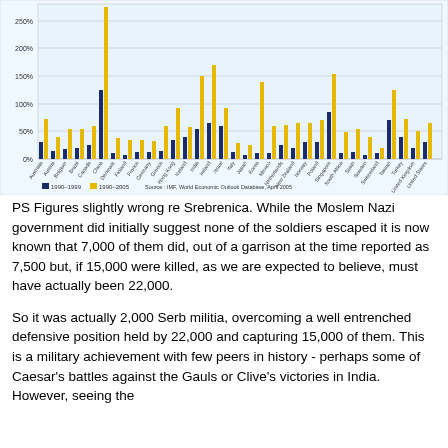[Figure (grouped-bar-chart): GDP Growth]
PS Figures slightly wrong re Srebrenica. While the Moslem Nazi government did initially suggest none of the soldiers escaped it is now known that 7,000 of them did, out of a garrison at the time reported as 7,500 but, if 15,000 were killed, as we are expected to believe, must have actually been 22,000.
So it was actually 2,000 Serb militia, overcoming a well entrenched defensive position held by 22,000 and capturing 15,000 of them. This is a military achievement with few peers in history - perhaps some of Caesar's battles against the Gauls or Clive's victories in India. However, seeing the